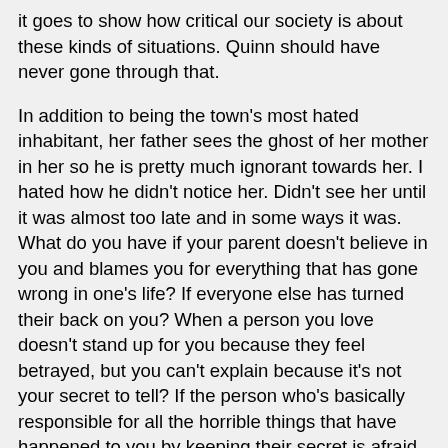it goes to show how critical our society is about these kinds of situations. Quinn should have never gone through that.
In addition to being the town's most hated inhabitant, her father sees the ghost of her mother in her so he is pretty much ignorant towards her. I hated how he didn't notice her. Didn't see her until it was almost too late and in some ways it was. What do you have if your parent doesn't believe in you and blames you for everything that has gone wrong in one's life? If everyone else has turned their back on you? When a person you love doesn't stand up for you because they feel betrayed, but you can't explain because it's not your secret to tell? If the person who's basically responsible for all the horrible things that have happened to you by keeping their secret is afraid to tell the truth? It's amazing how much Quinn grew thanks to these horrible situations. She may have made one mistake, but all she ever did was try to protect the person she loved. I wish she had loved one less. The only person who sees the real her is George—a veteran who Quinn takes care of at a hospital. I found him to be the best part of this book and his words, attitude and friendship with a high school senior was admirable and inspiring.